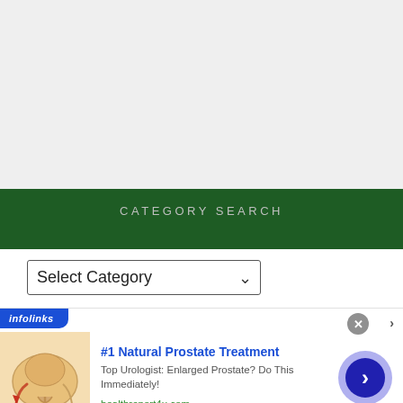CATEGORY SEARCH
Select Category
[Figure (screenshot): Advertisement banner with infolinks badge showing '#1 Natural Prostate Treatment' ad with prostate medical illustration, text 'Top Urologist: Enlarged Prostate? Do This Immediately!' and URL healthreport4u.com, with a blue navigation arrow button on the right.]